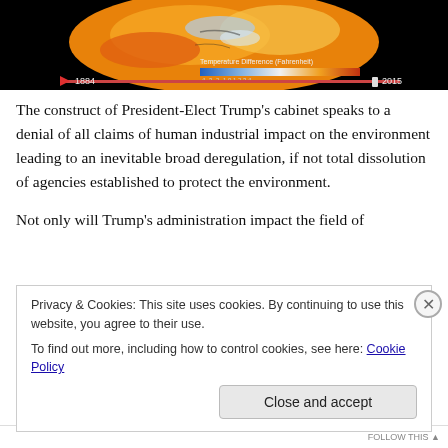[Figure (screenshot): Screenshot of a NASA temperature difference visualization showing a globe with color gradient from blue (cold) to orange/yellow (hot), with a timeline slider showing 1884 to 2015. Label reads 'Temperature Difference (Fahrenheit)'.]
The construct of President-Elect Trump’s cabinet speaks to a denial of all claims of human industrial impact on the environment leading to an inevitable broad deregulation, if not total dissolution of agencies established to protect the environment.
Not only will Trump’s administration impact the field of
Privacy & Cookies: This site uses cookies. By continuing to use this website, you agree to their use.
To find out more, including how to control cookies, see here: Cookie Policy
Close and accept